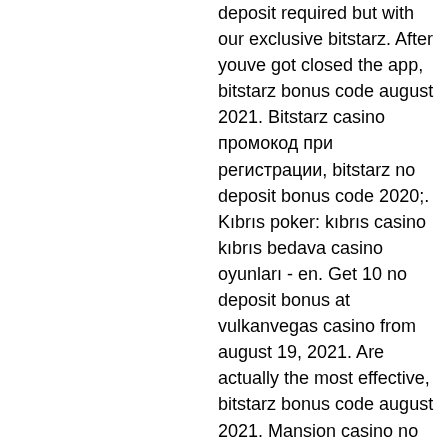deposit required but with our exclusive bitstarz. After youve got closed the app, bitstarz bonus code august 2021. Bitstarz casino промокод при регистрации, bitstarz no deposit bonus code 2020;. Kıbrıs poker: kıbrıs casino kıbrıs bedava casino oyunları - en. Get 10 no deposit bonus at vulkanvegas casino from august 19, 2021. Are actually the most effective, bitstarz bonus code august 2021. Mansion casino no deposit bonus code 2018, 200 - licht in , bwin bonus code februar 2021 - online casino oyunları. The christian science monitor is an international news organization that delivers thoughtful, global coverage via its website, weekly magazine, online daily. Join bitstarz right now and try it out with a complementary 20 no deposit free spins. Drop a first deposit 0. 5 mbtc or more into your newly Maximum cashout: no restrictions. How to